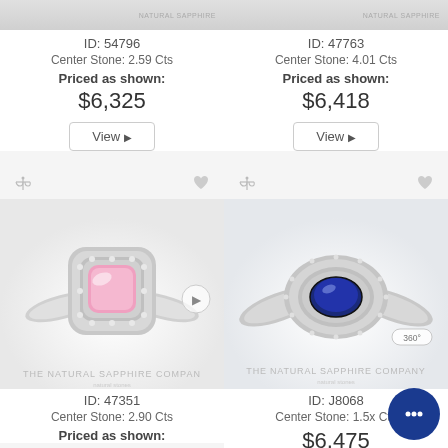[Figure (photo): Top portion of a ring product image (cropped), left column]
ID: 54796
Center Stone: 2.59 Cts
Priced as shown:
$6,325
View ▶
[Figure (photo): Top portion of a ring product image (cropped), right column]
ID: 47763
Center Stone: 4.01 Cts
Priced as shown:
$6,418
View ▶
[Figure (photo): Pink sapphire cushion-cut diamond halo ring on white background, THE NATURAL SAPPHIRE COMPANY watermark]
ID: 47351
Center Stone: 2.90 Cts
Priced as shown:
[Figure (photo): Blue sapphire oval diamond halo ring on white background, THE NATURAL SAPPHIRE COMPANY watermark, 360° badge]
ID: J8068
Center Stone: 1.5x Cts
$6,475